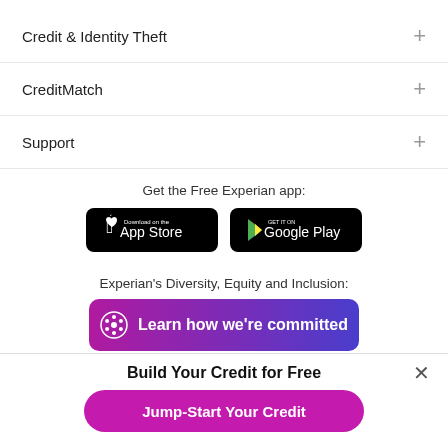Credit & Identity Theft +
CreditMatch +
Support +
Get the Free Experian app:
[Figure (screenshot): App Store and Google Play download badges]
Experian's Diversity, Equity and Inclusion:
[Figure (infographic): Learn how we're committed button with Experian logo, gradient purple-to-blue background]
Build Your Credit for Free
[Figure (infographic): Jump-Start Your Credit button in pink/magenta]